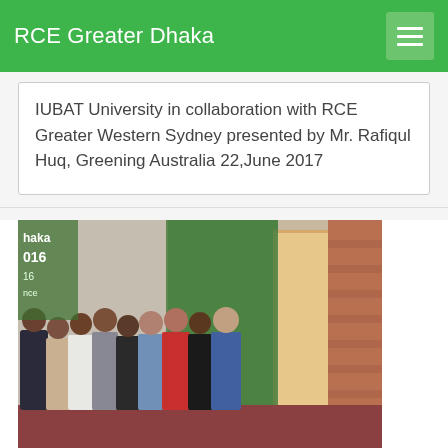RCE Greater Dhaka
IUBAT University in collaboration with RCE Greater Western Sydney presented by Mr. Rafiqul Huq, Greening Australia 22,June 2017
[Figure (photo): Group photo of participants at RCE Greater Dhaka Annual event, with text overlay showing 'haka' and '016' on left side, people standing in a row indoors]
RCE Greater Dhaka Annual